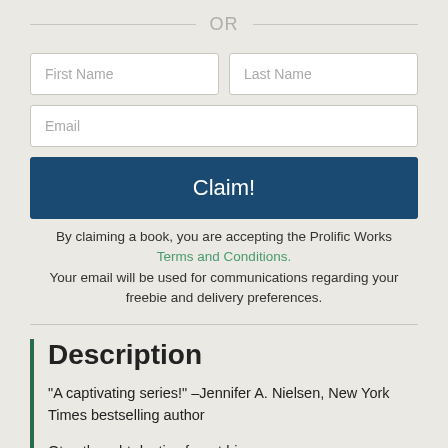OR
[Figure (other): Form with First Name, Last Name, Email fields and a Claim! button]
By claiming a book, you are accepting the Prolific Works Terms and Conditions. Your email will be used for communications regarding your freebie and delivery preferences.
Description
"A captivating series!" –Jennifer A. Nielsen, New York Times bestselling author
Otec thought destiny forgot him.